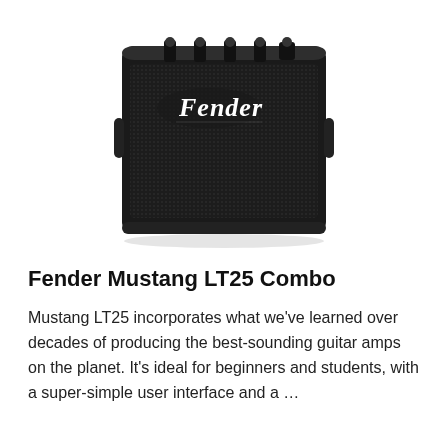[Figure (photo): Fender Mustang LT25 Combo guitar amplifier — a compact black rectangular amp with the Fender script logo on the upper left of the grille cloth, and control knobs visible at the top.]
Fender Mustang LT25 Combo
Mustang LT25 incorporates what we've learned over decades of producing the best-sounding guitar amps on the planet. It's ideal for beginners and students, with a super-simple user interface and a …